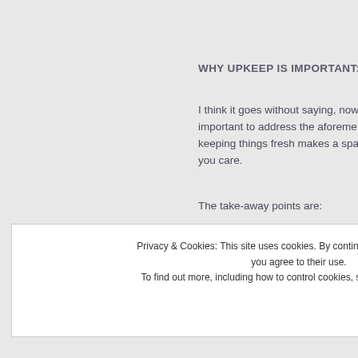WHY UPKEEP IS IMPORTANT:
I think it goes without saying, now important to address the aforeme keeping things fresh makes a spac you care.
The take-away points are:
Never forget what good cu
Invest in privacy for your c
Privacy & Cookies: This site uses cookies. By continuing to use this website, you agree to their use.
To find out more, including how to control cookies, see here: Cookie Policy
Close and accept